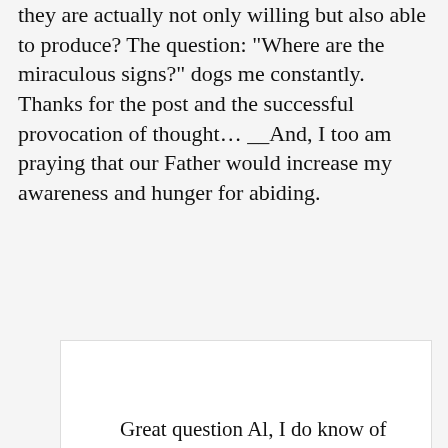they are actually not only willing but also able to produce? The question: "Where are the miraculous signs?" dogs me constantly. Thanks for the post and the successful provocation of thought… __And, I too am praying that our Father would increase my awareness and hunger for abiding.
Reply
[Figure (photo): Avatar photo of Ben Sternke, showing a person with lighting in background]
Ben Sternke says
August 2, 2012 at 1:30 pm
Great question Al, I do know of